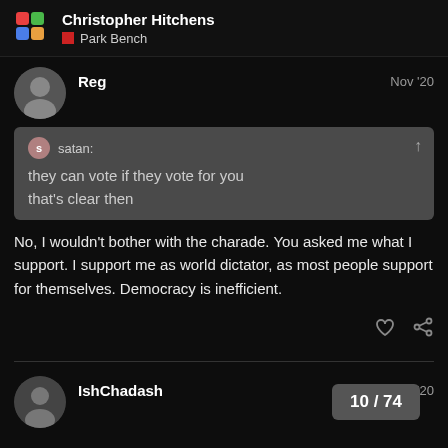Christopher Hitchens | Park Bench
Reg — Nov '20
satan:
they can vote if they vote for you
that's clear then
No, I wouldn't bother with the charade. You asked me what I support. I support me as world dictator, as most people support for themselves. Democracy is inefficient.
IshChadash — Nov '20
10 / 74